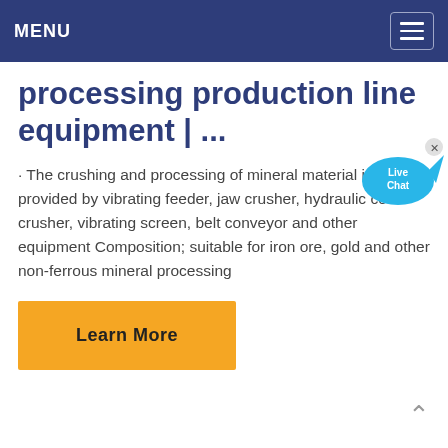MENU
processing production line equipment | ...
· The crushing and processing of mineral material is usually provided by vibrating feeder, jaw crusher, hydraulic cone crusher, vibrating screen, belt conveyor and other equipment Composition; suitable for iron ore, gold and other non-ferrous mineral processing
[Figure (other): Live Chat widget bubble icon in blue with text 'Live Chat' and a small X close button]
Learn More